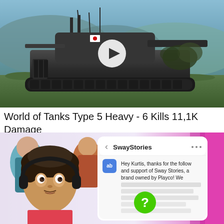[Figure (screenshot): Video thumbnail showing a World of Tanks heavy tank (Type 5 Heavy) in a battlefield setting with a white play button overlay in the center]
World of Tanks Type 5 Heavy - 6 Kills 11,1K Damage
[Figure (screenshot): Thumbnail showing a person with headphones reacting, with a SwayStories app message visible: 'Hey Kurtis, thanks for the follow and support of Sway Stories, a brand owned by Playco! We' with a green question mark emoji overlaid, and anime-style characters in the background]